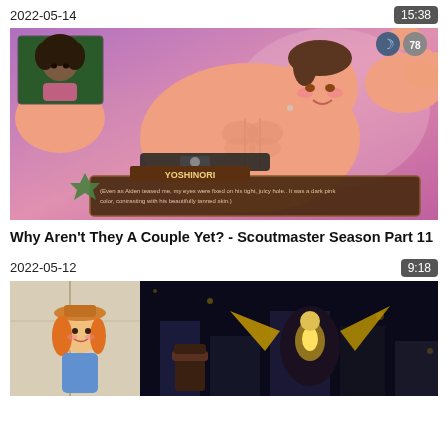2022-05-14
15:38
[Figure (screenshot): Animated game screenshot showing a muscular anime-style male character lying on a pink/purple background with a game UI dialog box showing character name YOSHINORI and descriptive text. A small webcam inset shows a real person in the top-left corner. Moon and level icons visible in top-right corner.]
Why Aren't They A Couple Yet? - Scoutmaster Season Part 11
2022-05-12
9:18
[Figure (screenshot): Partial thumbnail showing animated characters in a dark setting with a female character in a hat visible on the left side.]